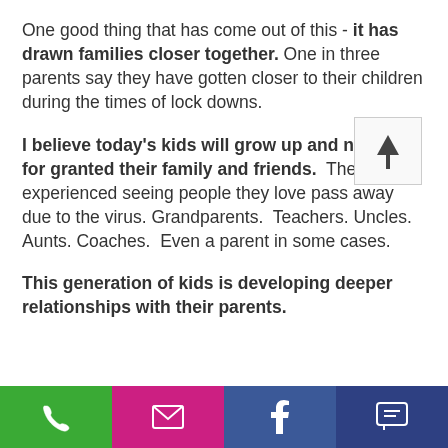One good thing that has come out of this - it has drawn families closer together. One in three parents say they have gotten closer to their children during the times of lock downs.
I believe today's kids will grow up and not take for granted their family and friends. They have experienced seeing people they love pass away due to the virus. Grandparents. Teachers. Uncles. Aunts. Coaches. Even a parent in some cases.
This generation of kids is developing deeper relationships with their parents.
[Figure (other): A scroll-up arrow button UI element — small square with upward arrow icon, light gray border]
[Figure (other): Mobile app bottom navigation bar with four buttons: phone (green), email/envelope (pink/magenta), Facebook (blue), chat/comment (dark blue)]